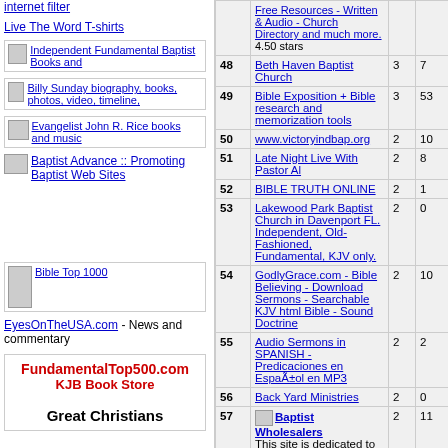internet filter
Live The Word T-shirts
Independent Fundamental Baptist Books and
Billy Sunday biography, books, photos, video, timeline,
Evangelist John R. Rice books and music
Baptist Advance :: Promoting Baptist Web Sites
Bible Top 1000
EyesOnTheUSA.com - News and commentary
FundamentalTop500.com KJB Book Store
Great Christians
| # | Site | Votes | Last |
| --- | --- | --- | --- |
|  | Free Resources - Written & Audio - Church Directory and much more. 4.50 stars |  |  |
| 48 | Beth Haven Baptist Church | 3 | 7 |
| 49 | Bible Exposition + Bible research and memorization tools | 3 | 53 |
| 50 | www.victoryindbap.org | 2 | 10 |
| 51 | Late Night Live With Pastor Al | 2 | 8 |
| 52 | BIBLE TRUTH ONLINE | 2 | 1 |
| 53 | Lakewood Park Baptist Church in Davenport FL. Independent, Old-Fashioned, Fundamental, KJV only. | 2 | 0 |
| 54 | GodlyGrace.com - Bible Believing - Download Sermons - Searchable KJV html Bible - Sound Doctrine | 2 | 10 |
| 55 | Audio Sermons in SPANISH - Predicaciones en Español en MP3 | 2 | 2 |
| 56 | Back Yard Ministries | 2 | 0 |
| 57 | Baptist Wholesalers - This site is dedicated to helping churches keep more money in the Lord's work where it belongs... | 2 | 11 |